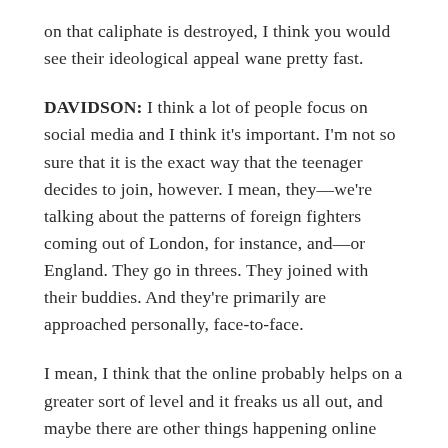on that caliphate is destroyed, I think you would see their ideological appeal wane pretty fast.
DAVIDSON: I think a lot of people focus on social media and I think it's important. I'm not so sure that it is the exact way that the teenager decides to join, however. I mean, they—we're talking about the patterns of foreign fighters coming out of London, for instance, and—or England. They go in threes. They joined with their buddies. And they're primarily are approached personally, face-to-face.
I mean, I think that the online probably helps on a greater sort of level and it freaks us all out, and maybe there are other things happening online where they're sharing information at a different